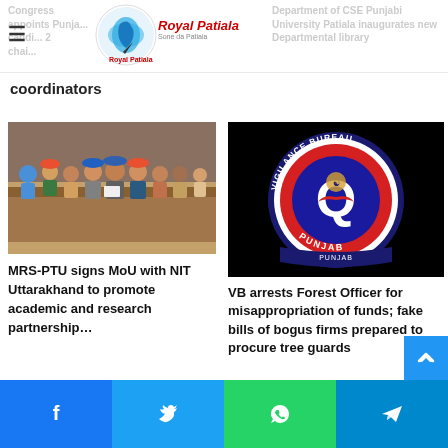Royal Patiala
coordinators
Department of CSE Punjabi University Patiala inaugurates new Departmental library
[Figure (photo): Group photo of people in a meeting room, some wearing turbans, one person holding a document]
MRS-PTU signs MoU with NIT Uttarakhand to promote academic and research partnership…
[Figure (logo): Vigilance Bureau Punjab logo - circular badge with a Q letter on black background]
VB arrests Forest Officer for misappropriation of funds; fake bills of bogus firms prepared to procure tree guards
Facebook, Twitter, WhatsApp, Telegram social share buttons